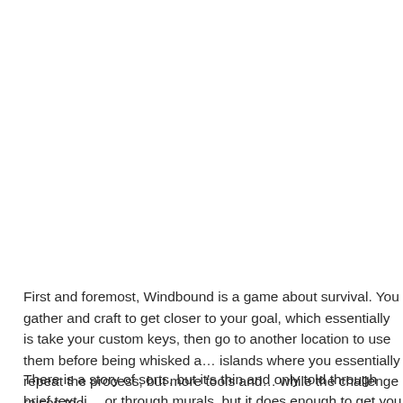First and foremost, Windbound is a game about survival. You gather and craft to get closer to your goal, which essentially is take your custom keys, then go to another location to use them before being whisked away to islands where you essentially repeat the process, but more tools and resources while the challenge raises too.
There is a story of sorts, but it's thin and only told through brief text lines or through murals, but it does enough to get you going. The game looks like Waker/Breath of the Wild with its visuals, but the gameplay is very di…